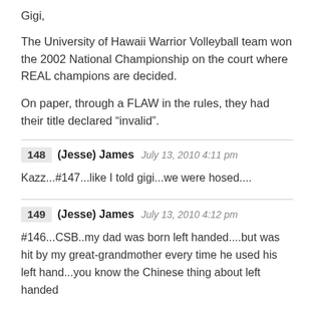Gigi,
The University of Hawaii Warrior Volleyball team won the 2002 National Championship on the court where REAL champions are decided.
On paper, through a FLAW in the rules, they had their title declared “invalid”.
148  (Jesse) James  July 13, 2010 4:11 pm
Kazz...#147...like I told gigi...we were hosed....
149  (Jesse) James  July 13, 2010 4:12 pm
#146...CSB..my dad was born left handed....but was hit by my great-grandmother every time he used his left hand...you know the Chinese thing about left handed